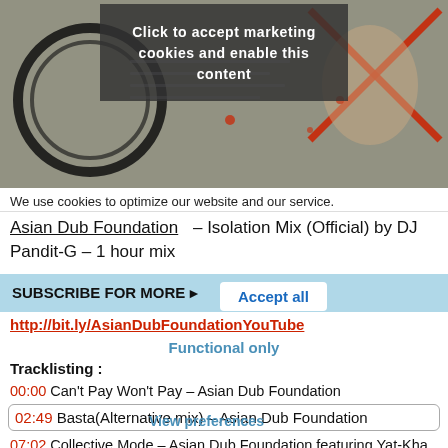[Figure (screenshot): A screenshot showing a YouTube video thumbnail with a passport image overlaid with red X marks, partially obscured by a cookie consent overlay dialog asking to 'Click to accept marketing cookies and enable this content'.]
We use cookies to optimize our website and our service.
Asian Dub Foundation – Isolation Mix (Official) by DJ Pandit-G – 1 hour mix
SUBSCRIBE FOR MORE ▸
Accept all
http://bit.ly/AsianDubFoundationYouTube
Functional only
Tracklisting :
00:00 Can't Pay Won't Pay – Asian Dub Foundation
02:49 Basta(Alternative mix) – Asian Dub Foundation
View preferences
07:02 Collective Mode – Asian Dub Foundation featuring Yat-Kha